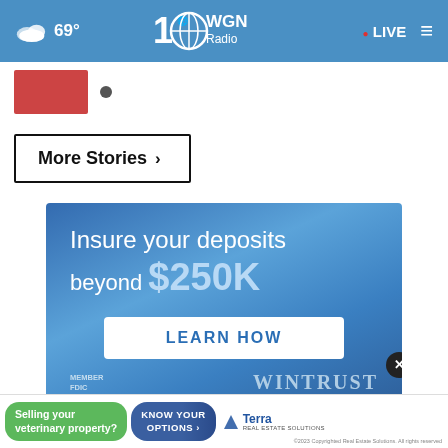69° WGN Radio 100 LIVE
[Figure (screenshot): Partial thumbnail image with red background at top left of content area]
More Stories ›
[Figure (infographic): Wintrust bank advertisement: 'Insure your deposits beyond $250K' with LEARN HOW button, Member FDIC logo, and Wintrust branding on blue gradient background]
[Figure (infographic): Bottom ad bar: 'Selling your veterinary property?' green pill button, 'KNOW YOUR OPTIONS' dark blue pill button, Terra Real Estate Solutions logo with dismiss X button]